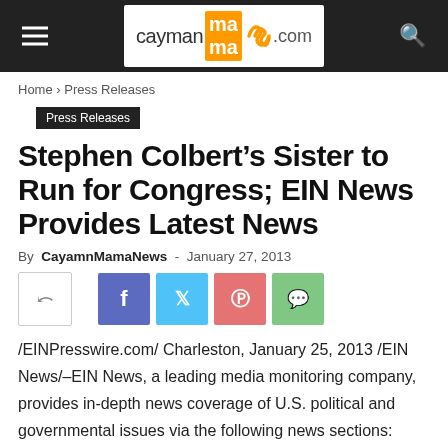cayman mama .com
Home › Press Releases
Press Releases
Stephen Colbert's Sister to Run for Congress; EIN News Provides Latest News
By CayamnMamaNews - January 27, 2013
[Figure (infographic): Social share buttons: native share, Facebook, Twitter, Pinterest, WhatsApp]
/EINPresswire.com/ Charleston, January 25, 2013 /EIN News/–EIN News, a leading media monitoring company, provides in-depth news coverage of U.S. political and governmental issues via the following news sections: